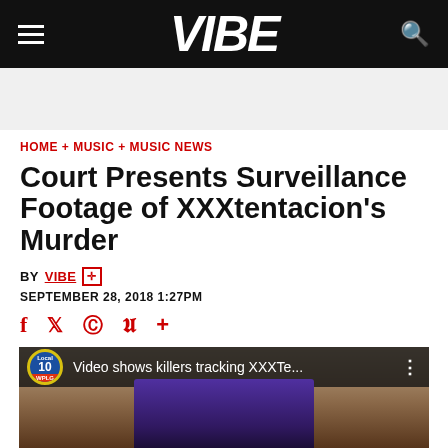VIBE
HOME + MUSIC + MUSIC NEWS
Court Presents Surveillance Footage of XXXtentacion's Murder
BY VIBE
SEPTEMBER 28, 2018 1:27PM
[Figure (screenshot): Video thumbnail showing 'Video shows killers tracking XXXTe...' with WPLG Local 10 ABC logo overlay and image of XXXtentacion]